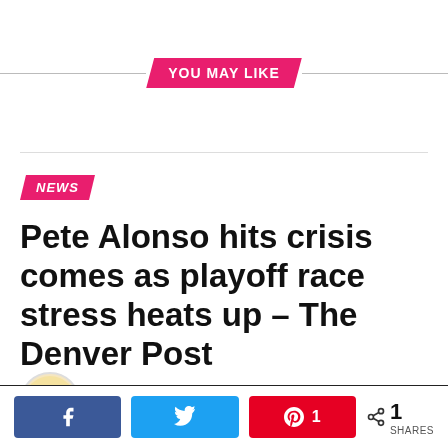YOU MAY LIKE
NEWS
Pete Alonso hits crisis comes as playoff race stress heats up – The Denver Post
Published 29 seconds ago on September 2, 2022
By Rajesh Khanna
[Figure (infographic): Social share buttons: Facebook, Twitter, Pinterest with count 1, and total 1 SHARES]